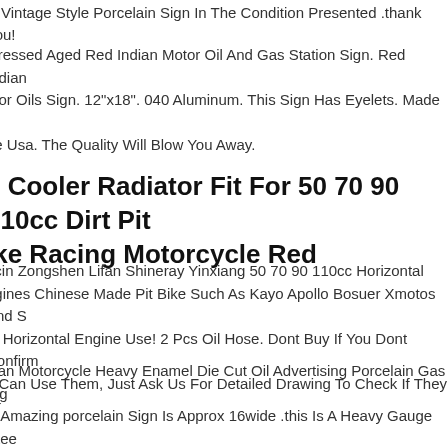is Vintage Style Porcelain Sign In The Condition Presented .thank You!
stressed Aged Red Indian Motor Oil And Gas Station Sign. Red Indian otor Oils Sign. 12"x18". 040 Aluminum. This Sign Has Eyelets. Made In he Usa. The Quality Will Blow You Away.
il Cooler Radiator Fit For 50 70 90 110cc Dirt Pit ike Racing Motorcycle Red
ncin Zongshen Lifan Shineray Yinxiang 50 70 90 110cc Horizontal ngines Chinese Made Pit Bike Such As Kayo Apollo Bosuer Xmotos And S n. Horizontal Engine Use! 2 Pcs Oil Hose. Dont Buy If You Dont Confirm u Can Use Them, Just Ask Us For Detailed Drawing To Check If They Ar .
dian Motorcycle Heavy Enamel Die Cut Oil Advertising Porcelain Gas Sig is Amazing porcelain Sign Is Approx 16wide .this Is A Heavy Gauge Stee namel Porcelain Covered Sign.looks Great. A Must Have Limited oduction Sign.check The Pictures. Will Look Great On Any Garage, Man ave Or Any Other Space.ships From Usa Via Usps Priority Mail.please L